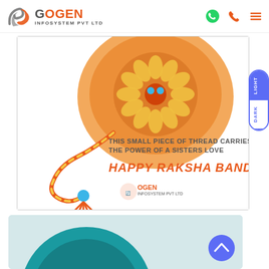Ogen Infosystem Pvt Ltd
[Figure (illustration): Raksha Bandhan greeting card with rakhi (ornate bracelet) on orange plate background, rope/thread decoration, text 'THIS SMALL PIECE OF THREAD CARRIES THE POWER OF A SISTERS LOVE' and 'HAPPY RAKSHA BANDHAN' in orange, Ogen Infosystem Pvt Ltd logo at bottom. Light/Dark mode toggle tabs on right side.]
[Figure (illustration): Partial view of a teal/turquoise circular graphic design element, with a blue circular scroll-to-top button with chevron/arrow in bottom right.]